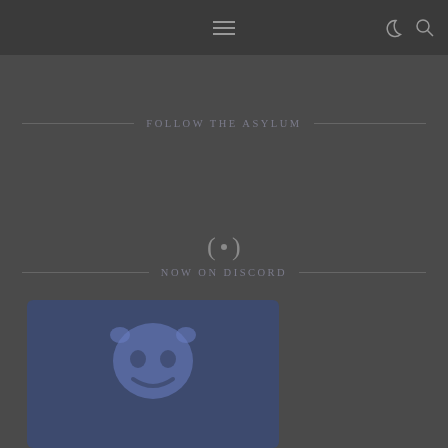FOLLOW THE ASYLUM
NOW ON DISCORD
[Figure (logo): Discord logo — rounded square blue card with white Discord mascot (Clyde) robot face with round head, eyes, and curved smile]